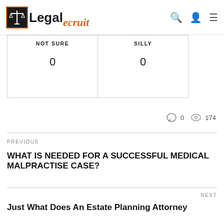[Figure (logo): LegalEcruit logo with scales of justice icon, bold 'Legal' text and italic orange 'ecruit' text]
| NOT SURE | SILLY |
| --- | --- |
| 0 | 0 |
0   174
PREVIOUS
WHAT IS NEEDED FOR A SUCCESSFUL MEDICAL MALPRACTISE CASE?
NEXT
Just What Does An Estate Planning Attorney